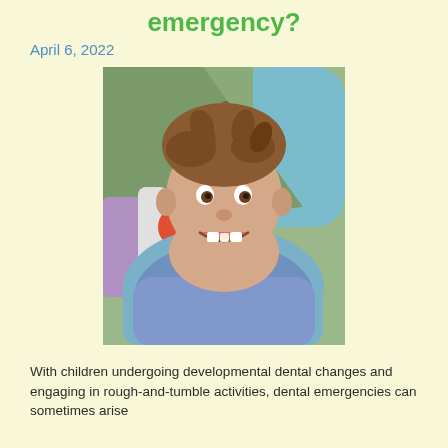emergency?
April 6, 2022
[Figure (photo): A smiling young boy with short brown hair sitting in a dental chair, wearing a blue dental bib. Dental equipment visible in the background with green and teal colors.]
With children undergoing developmental dental changes and engaging in rough-and-tumble activities, dental emergencies can sometimes arise